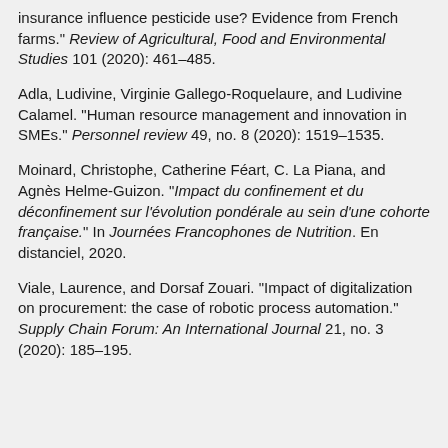insurance influence pesticide use? Evidence from French farms." Review of Agricultural, Food and Environmental Studies 101 (2020): 461–485.
Adla, Ludivine, Virginie Gallego-Roquelaure, and Ludivine Calamel. "Human resource management and innovation in SMEs." Personnel review 49, no. 8 (2020): 1519–1535.
Moinard, Christophe, Catherine Féart, C. La Piana, and Agnès Helme-Guizon. "Impact du confinement et du déconfinement sur l'évolution pondérale au sein d'une cohorte française." In Journées Francophones de Nutrition. En distanciel, 2020.
Viale, Laurence, and Dorsaf Zouari. "Impact of digitalization on procurement: the case of robotic process automation." Supply Chain Forum: An International Journal 21, no. 3 (2020): 185–195.